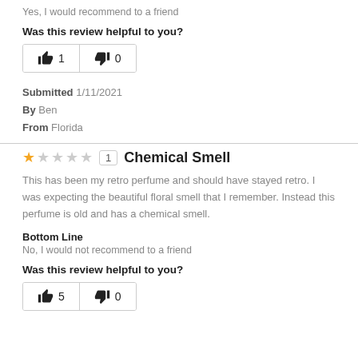Yes, I would recommend to a friend
Was this review helpful to you?
[Figure (other): Thumbs up button with count 1 and thumbs down button with count 0]
Submitted 1/11/2021
By Ben
From Florida
Chemical Smell
This has been my retro perfume and should have stayed retro. I was expecting the beautiful floral smell that I remember. Instead this perfume is old and has a chemical smell.
Bottom Line
No, I would not recommend to a friend
Was this review helpful to you?
[Figure (other): Thumbs up button with count 5 and thumbs down button with count 0]